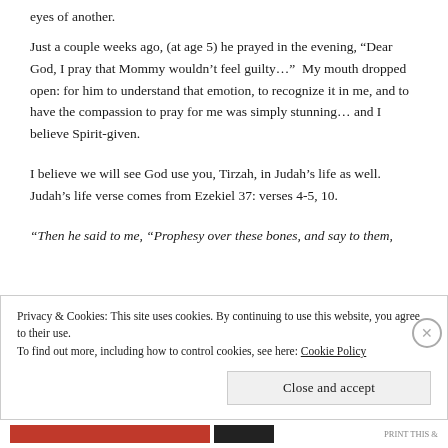eyes of another.
Just a couple weeks ago, (at age 5) he prayed in the evening, “Dear God, I pray that Mommy wouldn’t feel guilty…”  My mouth dropped open: for him to understand that emotion, to recognize it in me, and to have the compassion to pray for me was simply stunning… and I believe Spirit-given.
I believe we will see God use you, Tirzah, in Judah’s life as well. Judah’s life verse comes from Ezekiel 37: verses 4-5, 10.
“Then he said to me, “Prophesy over these bones, and say to them,
Privacy & Cookies: This site uses cookies. By continuing to use this website, you agree to their use.
To find out more, including how to control cookies, see here: Cookie Policy
Close and accept